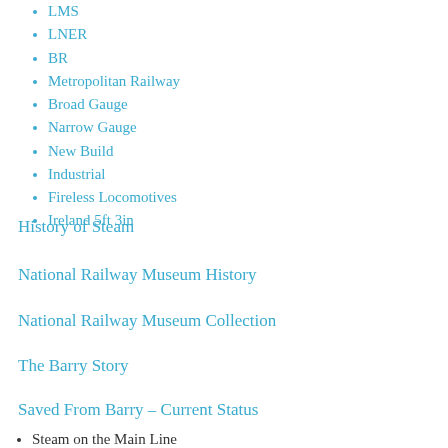LMS
LNER
BR
Metropolitan Railway
Broad Gauge
Narrow Gauge
New Build
Industrial
Fireless Locomotives
Ireland 5ft 3in
History of Steam
National Railway Museum History
National Railway Museum Collection
The Barry Story
Saved From Barry – Current Status
Steam on the Main Line